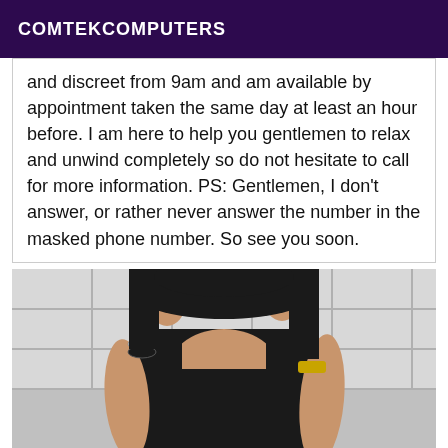COMTEKCOMPUTERS
and discreet from 9am and am available by appointment taken the same day at least an hour before. I am here to help you gentlemen to relax and unwind completely so do not hesitate to call for more information. PS: Gentlemen, I don't answer, or rather never answer the number in the masked phone number. So see you soon.
[Figure (photo): A person wearing a black tank top taking a mirror selfie, with bracelets on one wrist and a gold watch on the other wrist, with white tiled wall in background.]